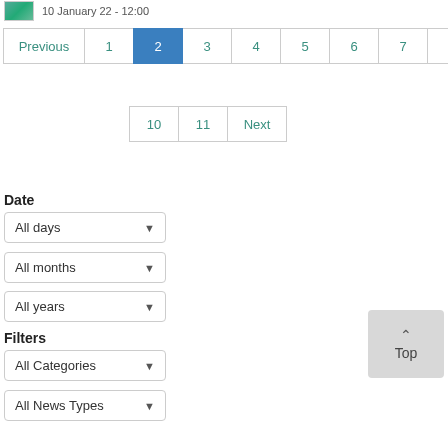10 January 22 - 12:00
Previous 1 2 3 4 5 6 7 8 9
10 11 Next
Date
All days
All months
All years
Filters
All Categories
All News Types